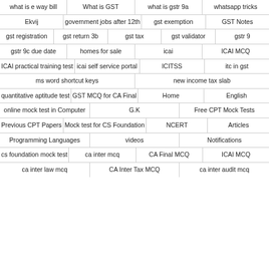what is e way bill
What is GST
what is gstr 9a
whatsapp tricks
Ekvij
government jobs after 12th
gst exemption
GST Notes
gst registration
gst return 3b
gst tax
gst validator
gstr 9
gstr 9c due date
homes for sale
icai
ICAI MCQ
ICAI practical training test
icai self service portal
ICITSS
itc in gst
ms word shortcut keys
new income tax slab
quantitative aptitude test
GST MCQ for CA Final
Home
English
online mock test in Computer
G.K
Free CPT Mock Tests
Previous CPT Papers
Mock test for CS Foundation
NCERT
Articles
Programming Languages
videos
Notifications
cs foundation mock test
ca inter mcq
CA Final MCQ
ICAI MCQ
ca inter law mcq
CA Inter Tax MCQ
ca inter audit mcq